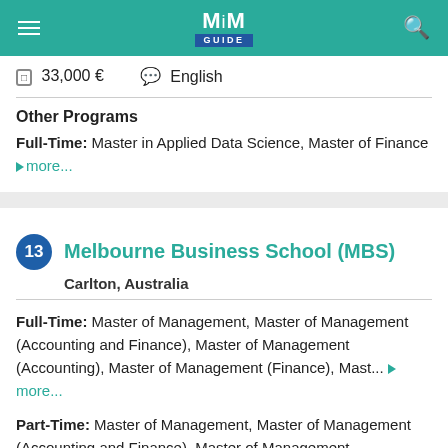MiM GUIDE
33,000 €   English
Other Programs
Full-Time: Master in Applied Data Science, Master of Finance ▶ more...
13 Melbourne Business School (MBS)
Carlton, Australia
Full-Time: Master of Management, Master of Management (Accounting and Finance), Master of Management (Accounting), Master of Management (Finance), Mast... ▶ more...
Part-Time: Master of Management, Master of Management (Accounting and Finance), Master of Management (Accounting), Master of Man...